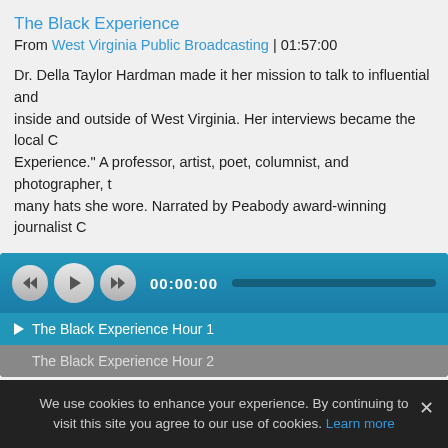The Black Experience
From West Virginia Public Broadcasting | 01:57:00
Dr. Della Taylor Hardman made it her mission to talk to influential and inside and outside of West Virginia. Her interviews became the local C Experience." A professor, artist, poet, columnist, and photographer, t many hats she wore. Narrated by Peabody award-winning journalist C
[Figure (screenshot): Audio player with rewind, play, fast-forward buttons, time display 00:00:00, progress bar. Playlist shows 'The Black Experience Hour 1' (active) and 'The Black Experience Hour 2'.]
Humankind: Justice Denied
From Humankind | Part of the Humankind Specials series | 58:59
How could a nation founded on a Declaration that "all men are create was this contradiction more stark than at the Supreme Court, which fo that black people have "no rights" -- a decision Abraham Lincoln ada Humankind special, produced in association with WGBH/Boston, we'l
We use cookies to enhance your experience. By continuing to visit this site you agree to our use of cookies. Learn more